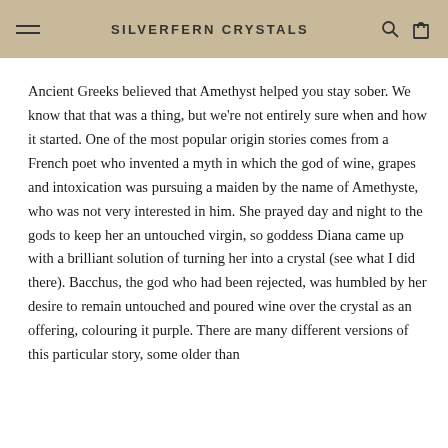SILVERFERN CRYSTALS
Ancient Greeks believed that Amethyst helped you stay sober. We know that that was a thing, but we're not entirely sure when and how it started. One of the most popular origin stories comes from a French poet who invented a myth in which the god of wine, grapes and intoxication was pursuing a maiden by the name of Amethyste, who was not very interested in him. She prayed day and night to the gods to keep her an untouched virgin, so goddess Diana came up with a brilliant solution of turning her into a crystal (see what I did there). Bacchus, the god who had been rejected, was humbled by her desire to remain untouched and poured wine over the crystal as an offering, colouring it purple. There are many different versions of this particular story, some older than